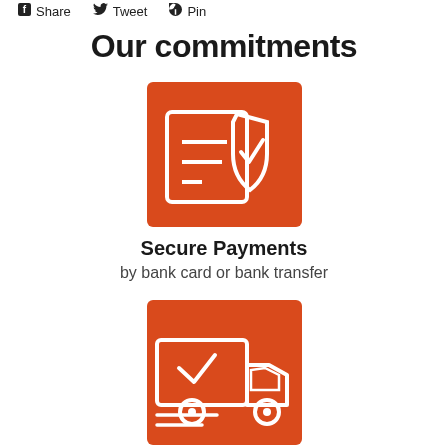f Share   Tweet   Pin
Our commitments
[Figure (illustration): Orange rounded square icon with a document and a shield with checkmark, representing secure payments]
Secure Payments
by bank card or bank transfer
[Figure (illustration): Orange rounded square icon with a delivery truck with checkmark, representing free international delivery]
Free international delivery
performed by specialists